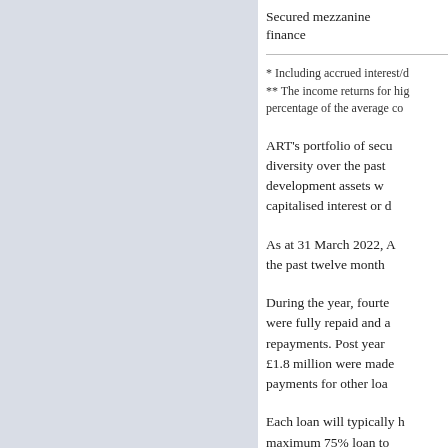| Secured mezzanine finance |  |
* Including accrued interest/d
** The income returns for hig percentage of the average co
ART's portfolio of secu diversity over the past development assets w capitalised interest or d
As at 31 March 2022, A the past twelve month
During the year, fourte were fully repaid and a repayments. Post year £1.8 million were made payments for other loa
Each loan will typically h maximum 75% loan to